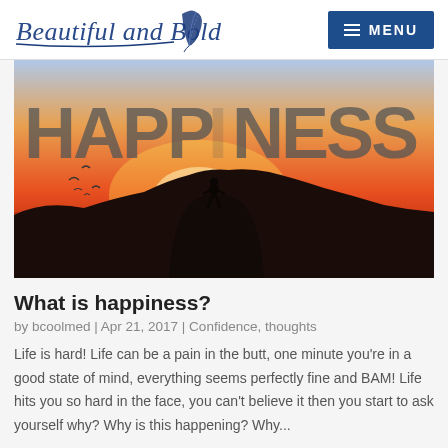Beautiful and Bold | MENU
[Figure (photo): Inspirational photo with silhouette of a person standing on a large rock at sunset with the word HAPPINESS overlaid in large bold letters, birds flying in the background, orange and red sunset sky.]
What is happiness?
by bcoolmed | Apr 21, 2017 | Confidence, thoughts
Life is hard! Life can be a pain in the butt, one minute you're in a good state of mind, everything seems perfectly fine and BAM! Life hits you so hard in the face, you can't believe it then you start to ask yourself why? Why is this happening? Why...